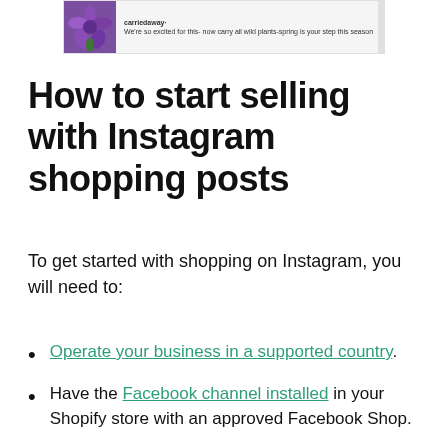[Figure (screenshot): A screenshot showing a purple flower image with a social media post preview and text overlay]
How to start selling with Instagram shopping posts
To get started with shopping on Instagram, you will need to:
Operate your business in a supported country.
Have the Facebook channel installed in your Shopify store with an approved Facebook Shop.